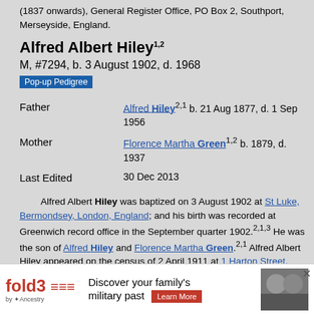(1837 onwards), General Register Office, PO Box 2, Southport, Merseyside, England.
Alfred Albert Hiley 1,2
M, #7294, b. 3 August 1902, d. 1968
Pop-up Pedigree
| Field | Value |
| --- | --- |
| Father | Alfred Hiley 2,1 b. 21 Aug 1877, d. 1 Sep 1956 |
| Mother | Florence Martha Green 1,2 b. 1879, d. 1937 |
| Last Edited | 30 Dec 2013 |
Alfred Albert Hiley was baptized on 3 August 1902 at St Luke, Bermondsey, London, England; and his birth was recorded at Greenwich record office in the September quarter 1902. 2,1,3 He was the son of Alfred Hiley and Florence Martha Green. 2,1 Alfred Albert Hiley appeared on the census of 2 April 1911 at 1 Harton Street, Deptford, London, England, as son, age 8, birthplace DEPTFORD, Kent, E... Pembro... ...ed at Green...
[Figure (other): Fold3 by Ancestry advertisement banner: Discover your family's military past, Learn More]